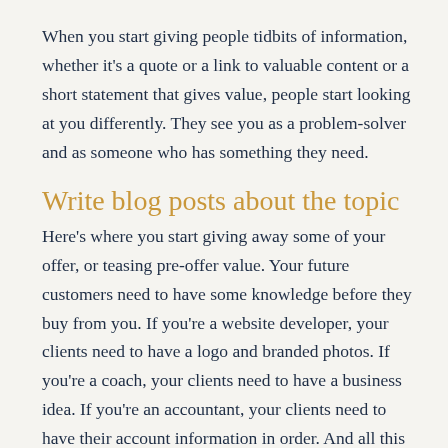When you start giving people tidbits of information, whether it's a quote or a link to valuable content or a short statement that gives value, people start looking at you differently. They see you as a problem-solver and as someone who has something they need.
Write blog posts about the topic
Here's where you start giving away some of your offer, or teasing pre-offer value. Your future customers need to have some knowledge before they buy from you. If you're a website developer, your clients need to have a logo and branded photos. If you're a coach, your clients need to have a business idea. If you're an accountant, your clients need to have their account information in order. And all this needs to happen before they work with you.